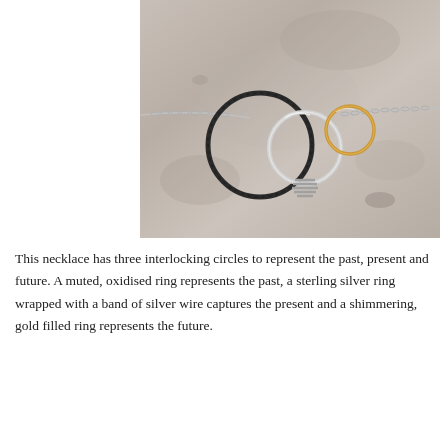[Figure (photo): A necklace with three interlocking circles on a stone background: a large dark oxidised ring on the left, a medium sterling silver ring in the center wrapped with silver wire, and a smaller gold filled ring on the right, all connected by a delicate silver chain.]
This necklace has three interlocking circles to represent the past, present and future. A muted, oxidised ring represents the past, a sterling silver ring wrapped with a band of silver wire captures the present and a shimmering, gold filled ring represents the future.